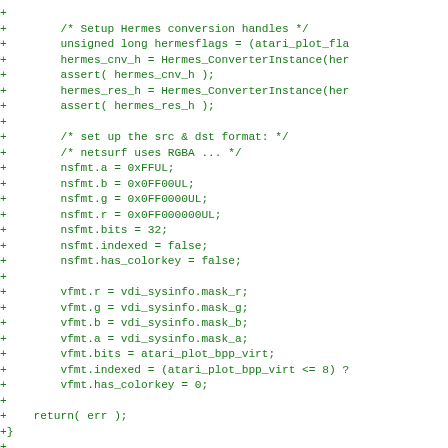Code diff showing plot_finalise function setup with Hermes conversion handles, format configuration for RGBA, and vfmt assignments